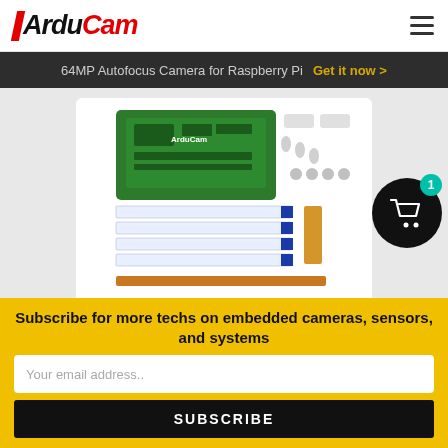ArduCam
64MP Autofocus Camera for Raspberry Pi  Get it now >
[Figure (photo): Product photo of 12MP*4 Quadrascopic Camera Bundle Kit showing circuit board, flat flex cables, and accessories on white background]
12MP*4 Quadrascopic Camera Bundle Kit for Raspberry Pi, Nvidia Jetson..
Subscribe for more techs on embedded cameras, sensors, and systems
Your email address..
SUBSCRIBE